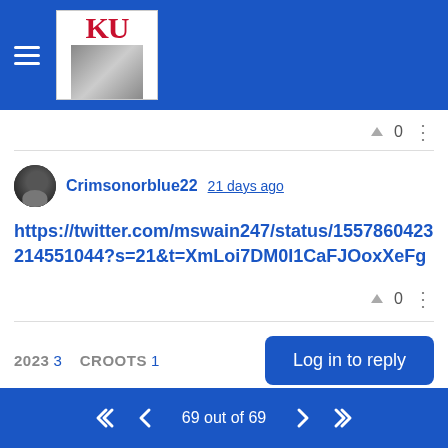[Figure (screenshot): Blue header bar with hamburger menu icon and KU (University of Kansas) logo]
0
Crimsonorblue22  21 days ago
https://twitter.com/mswain247/status/1557860423214551044?s=21&t=XmLoi7DM0I1CaFJOoxXeFg
0
2023  3  CROOTS  1
Log in to reply
69 out of 69